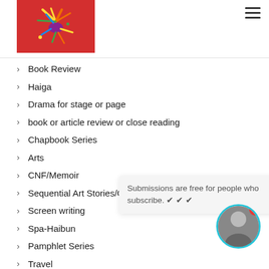[Figure (logo): Red background logo with colorful bird/explosion graphic]
Book Review
Haiga
Drama for stage or page
book or article review or close reading
Chapbook Series
Arts
CNF/Memoir
Sequential Art Stories/Graphic novels
Screen writing
Spa-Haibun
Pamphlet Series
Travel
Flash CN
Other
Other
Submissions are free for people who subscribe. ✔ ✔ ✔